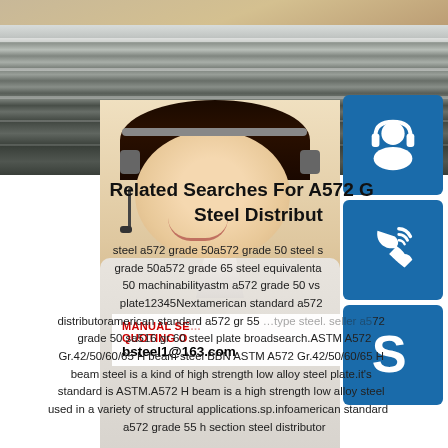[Figure (photo): Steel plates stacked, viewed from the edge showing gray metallic layers; background shows wooden surface and a customer service representative woman wearing a headset with blue icon sidebar showing support, phone, and Skype icons along with contact overlay panel showing email bsteel1@163.com]
Related Searches For A572 G... Steel Distribut...
steel a572 grade 50a572 grade 50 steel s... grade 50a572 grade 65 steel equivalenta... 50 machinabilityastm a572 grade 50 vs ... plate12345Nextamerican standard a572 ... distributoramerican standard a572 gr 55 ... type steel. seller a572 grade 50 sa516 gr 60 steel plate broadsearch.ASTM A572 Gr.42/50/60/65 H beam steel BBN ASTM A572 Gr.42/50/60/65 H beam steel is a kind of high strength low alloy steel plate.it's standard is ASTM.A572 H beam is a high strength low alloy steel used in a variety of structural applications.sp.infoamerican standard a572 grade 55 h section steel distributor